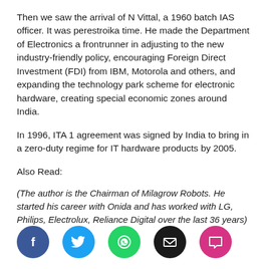Then we saw the arrival of N Vittal, a 1960 batch IAS officer. It was perestroika time. He made the Department of Electronics a frontrunner in adjusting to the new industry-friendly policy, encouraging Foreign Direct Investment (FDI) from IBM, Motorola and others, and expanding the technology park scheme for electronic hardware, creating special economic zones around India.
In 1996, ITA 1 agreement was signed by India to bring in a zero-duty regime for IT hardware products by 2005.
Also Read:
(The author is the Chairman of Milagrow Robots. He started his career with Onida and has worked with LG, Philips, Electrolux, Reliance Digital over the last 36 years)
[Figure (infographic): Social media share buttons: Facebook (blue), Twitter (light blue), WhatsApp (green), Email (black), Comment (pink/magenta)]